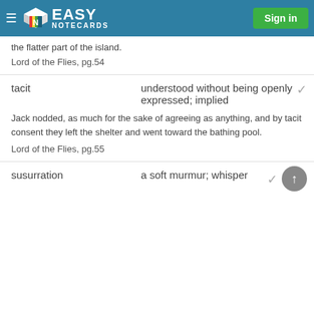Easy Notecards — Sign in
the flatter part of the island.
Lord of the Flies, pg.54
tacit — understood without being openly expressed; implied
Jack nodded, as much for the sake of agreeing as anything, and by tacit consent they left the shelter and went toward the bathing pool.
Lord of the Flies, pg.55
susurration — a soft murmur; whisper